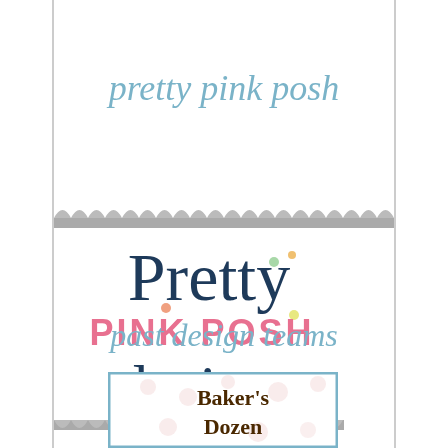[Figure (logo): Script text reading 'pretty pink posh' in light blue cursive font]
[Figure (logo): Pretty Pink Posh Designer badge logo with scalloped gray borders, navy script 'Pretty' and 'designer', pink caps 'PINK POSH', and colorful confetti dots]
past design teams
[Figure (logo): Baker's Dozen logo with brown serif text on polka dot background inside a teal-bordered rectangle]